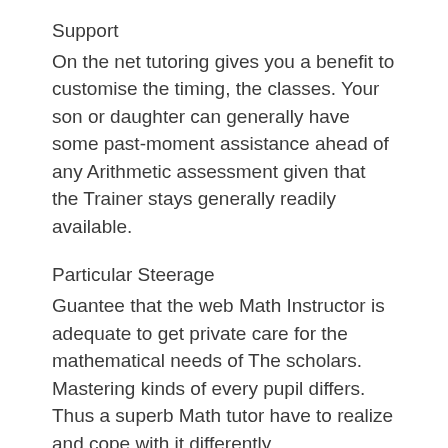Support
On the net tutoring gives you a benefit to customise the timing, the classes. Your son or daughter can generally have some past-moment assistance ahead of any Arithmetic assessment given that the Trainer stays generally readily available.
Particular Steerage
Guantee that the web Math Instructor is adequate to get private care for the mathematical needs of The scholars. Mastering kinds of every pupil differs. Thus a superb Math tutor have to realize and cope with it differently.
Questionnaire Classes
The Instructor must talk to verbally or put together in creating Math thoughts in order to develop the desire of